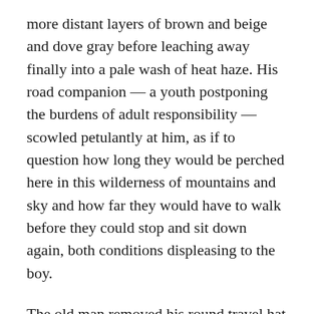more distant layers of brown and beige and dove gray before leaching away finally into a pale wash of heat haze. His road companion — a youth postponing the burdens of adult responsibility — scowled petulantly at him, as if to question how long they would be perched here in this wilderness of mountains and sky and how far they would have to walk before they could stop and sit down again, both conditions displeasing to the boy.
The old man removed his round travel hat and dried his face and head with a clean white cloth then picked up his hat again and fanned himself with it, the chin cords dangling. He and young Chibi-kun were dressed alike in the summer robes of wandering monks. Each wore a woven hemp travel satchel and sleeping quilt tied diagonally across one shoulder, and each had a water